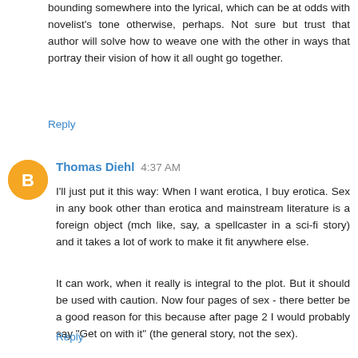bounding somewhere into the lyrical, which can be at odds with novelist's tone otherwise, perhaps. Not sure but trust that author will solve how to weave one with the other in ways that portray their vision of how it all ought go together.
Reply
Thomas Diehl 4:37 AM
I'll just put it this way: When I want erotica, I buy erotica. Sex in any book other than erotica and mainstream literature is a foreign object (mch like, say, a spellcaster in a sci-fi story) and it takes a lot of work to make it fit anywhere else.
It can work, when it really is integral to the plot. But it should be used with caution. Now four pages of sex - there better be a good reason for this because after page 2 I would probably say "Get on with it" (the general story, not the sex).
Reply